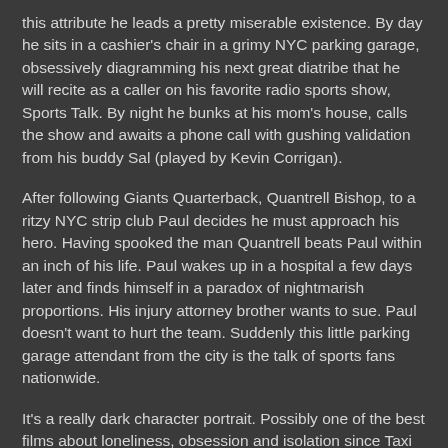this attribute he leads a pretty miserable existence. By day he sits in a cashier's chair in a grimy NYC parking garage, obsessively diagramming his next great diatribe that he will recite as a caller on his favorite radio sports show, Sports Talk. By night he bunks at his mom's house, calls the show and awaits a phone call with gushing validation from his buddy Sal (played by Kevin Corrigan).
After following Giants Quarterback, Quantrell Bishop, to a ritzy NYC strip club Paul decides he must approach his hero. Having spooked the man Quantrell beats Paul within an inch of his life. Paul wakes up in a hospital a few days later and finds himself in a paradox of nightmarish proportions. His injury attorney brother wants to sue. Paul doesn't want to hurt the team. Suddenly this little parking garage attendant from the city is the talk of sports fans nationwide.
It's a really dark character portrait. Possibly one of the best films about loneliness, obsession and isolation since Taxi Driver.